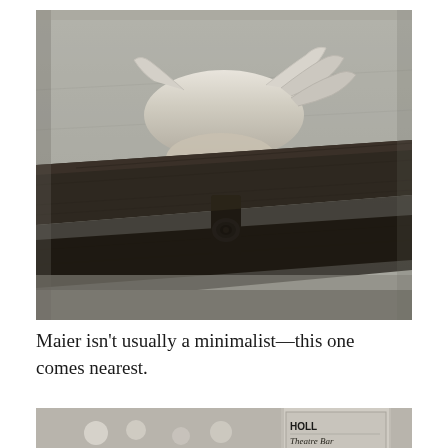[Figure (photo): Black and white photograph of a young child with light hair peeking over a wooden park bench, with one eye visible just above the top rail of the bench.]
Maier isn't usually a minimalist—this one comes nearest.
[Figure (photo): Black and white photograph showing a street scene with a 'Hollywood Theatre Bar' sign visible and reflections in glass.]